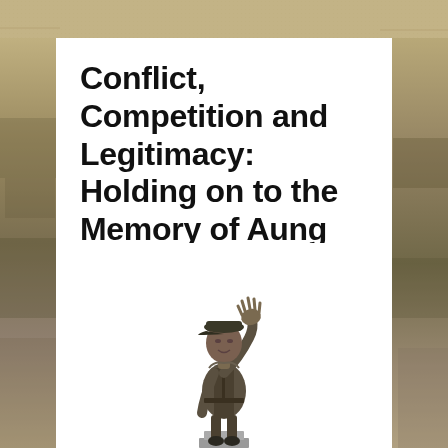[Figure (photo): Background landscape photo with sandy/earthy tones visible on left and right sides behind white content card, and at top of page]
Conflict, Competition and Legitimacy: Holding on to the Memory of Aung San
AUGUST 15, 2019 BY ANNA PLUNKETT
by Anna Plunkett
[Figure (photo): A statue of Aung San in military uniform with one hand raised, photographed from below against a white background]